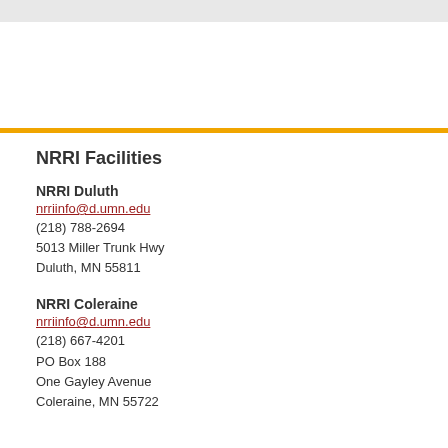NRRI Facilities
NRRI Duluth
nrriinfo@d.umn.edu
(218) 788-2694
5013 Miller Trunk Hwy
Duluth, MN 55811
NRRI Coleraine
nrriinfo@d.umn.edu
(218) 667-4201
PO Box 188
One Gayley Avenue
Coleraine, MN 55722